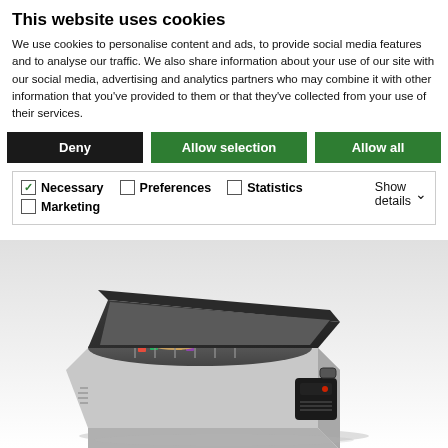This website uses cookies
We use cookies to personalise content and ads, to provide social media features and to analyse our traffic. We also share information about your use of our site with our social media, advertising and analytics partners who may combine it with other information that you've provided to them or that they've collected from your use of their services.
Deny
Allow selection
Allow all
Necessary [checked] | Preferences [unchecked] | Statistics [unchecked] | Marketing [unchecked] | Show details
[Figure (photo): Open portable cooler/refrigerator box, grey body with black lid open, showing contents inside with dividers, compressor unit visible on front-right]